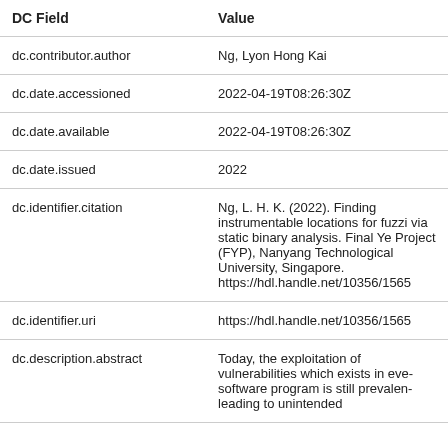| DC Field | Value |
| --- | --- |
| dc.contributor.author | Ng, Lyon Hong Kai |
| dc.date.accessioned | 2022-04-19T08:26:30Z |
| dc.date.available | 2022-04-19T08:26:30Z |
| dc.date.issued | 2022 |
| dc.identifier.citation | Ng, L. H. K. (2022). Finding instrumentable locations for fuzzing via static binary analysis. Final Year Project (FYP), Nanyang Technological University, Singapore. https://hdl.handle.net/10356/1565 |
| dc.identifier.uri | https://hdl.handle.net/10356/1565 |
| dc.description.abstract | Today, the exploitation of vulnerabilities which exists in every software program is still prevalent, leading to unintended |